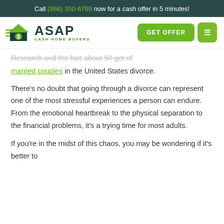Call (866) 350-6769 now for a cash offer in 5 minutes!
[Figure (logo): ASAP Cash Home Buyers logo with green house icon]
Research and the fact about 50 percent of married couples in the United States divorce.
There's no doubt that going through a divorce can represent one of the most stressful experiences a person can endure. From the emotional heartbreak to the physical separation to the financial problems, it's a trying time for most adults.
If you're in the midst of this chaos, you may be wondering if it's better to